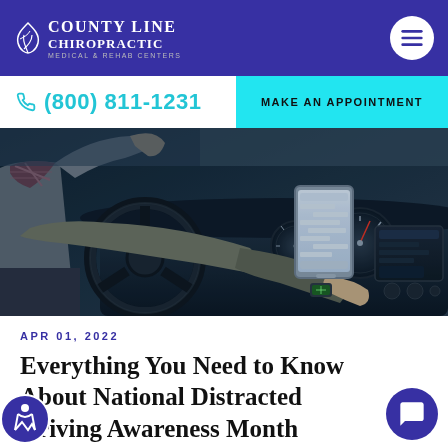County Line Chiropractic Medical & Rehab Centers
(800) 811-1231
MAKE AN APPOINTMENT
[Figure (photo): Person driving a car while holding a smartphone, with hand raised off the steering wheel, viewed from behind. Car interior with dashboard and infotainment screen visible.]
APR 01, 2022
Everything You Need to Know About National Distracted Driving Awareness Month